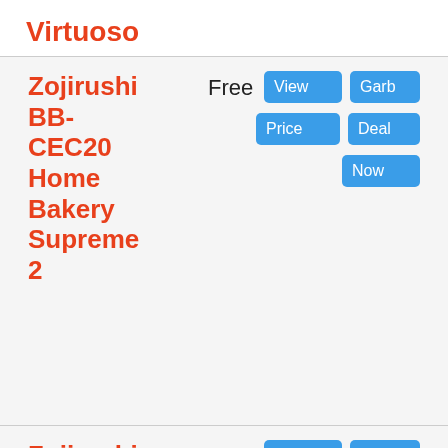Virtuoso
| Product | Shipping | Discount | Actions |
| --- | --- | --- | --- |
| Zojirushi BB-CEC20 Home Bakery Supreme 2 | Free | 30% | View Price | Garb Deal Now |
| Zojirushi BB-HAC10 Home ... | Free | 30% | View Price | Garb Deal Now |